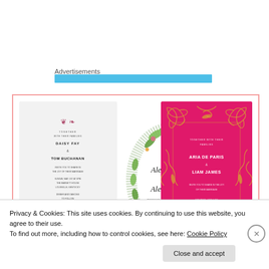Advertisements
[Figure (illustration): Three wedding invitation card designs: (1) a light grey card with floral top/bottom decoration and text for Daisy Fay & Tom Buchanan; (2) a white card with an oval floral/botanical wreath enclosing cursive names Alexia Hall & Alex Hakko; (3) a hot pink/magenta card with ornate gold floral border pattern.]
Privacy & Cookies: This site uses cookies. By continuing to use this website, you agree to their use.
To find out more, including how to control cookies, see here: Cookie Policy